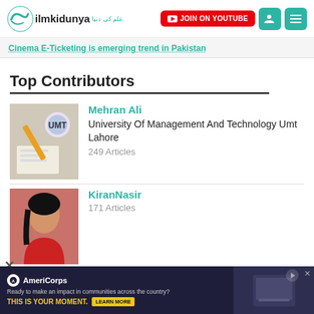ilmkidunya - JOIN ON YOUTUBE
Cinema E-Ticketing is emerging trend in Pakistan
Top Contributors
Mehran Ali - University Of Management And Technology Umt Lahore - 249 Articles
KiranNasir - 171 Articles
[Figure (other): Advertisement banner: AmeriCorps - Ready to make an impact in communities across the country? THIS IS YOUR MOMENT. LEARN MORE]